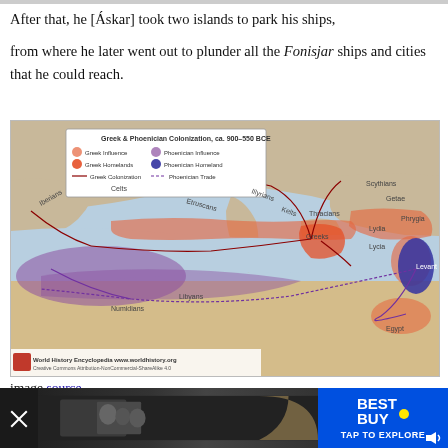After that, he [Áskar] took two islands to park his ships,
from where he later went out to plunder all the Fonisjar ships and cities that he could reach.
[Figure (map): Map of Greek and Phoenician Colonization, ca. 900-550 BCE. Shows Greek Influence, Greek Homelands, Greek Colonization routes (red/orange areas and arrows), and Phoenician Influence, Phoenician Homeland, Phoenician Trade (purple areas and arrows). Regions labeled include Celts, Iberians, Etruscans, Illyrians, Thracians, Greeks, Scythians, Getae, Lydia, Phrygia, Lycia, Levant, Egypt, Libyans, Numidians. Source: World History Encyclopedia www.worldhistory.org Creative Commons Attribution-NonCommercial-ShareAlike 4.0]
image source